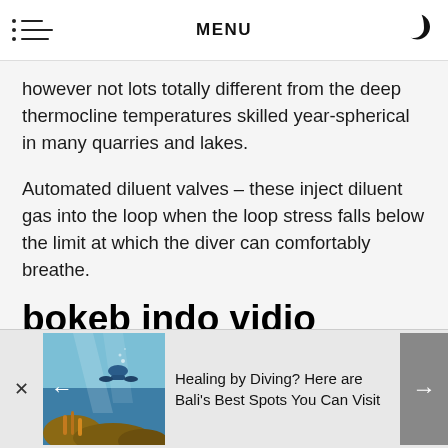MENU
however not lots totally different from the deep thermocline temperatures skilled year-spherical in many quarries and lakes.
Automated diluent valves – these inject diluent gas into the loop when the loop stress falls below the limit at which the diver can comfortably breathe.
bokeb indo vidio bokeb vidio bokeb indo vidio indo xnxx ret
[Figure (photo): Underwater photo of a scuba diver above a coral reef in blue water]
Healing by Diving? Here are Bali's Best Spots You Can Visit